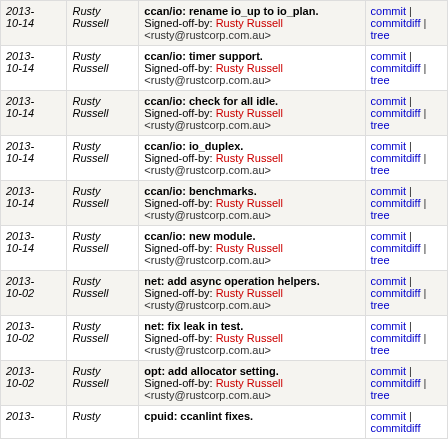| Date | Author | Commit | Links |
| --- | --- | --- | --- |
| 2013-
10-14 | Rusty
Russell | ccan/io: rename io_up to io_plan. Signed-off-by: Rusty Russell <rusty@rustcorp.com.au> | commit | commitdiff | tree |
| 2013-
10-14 | Rusty
Russell | ccan/io: timer support. Signed-off-by: Rusty Russell <rusty@rustcorp.com.au> | commit | commitdiff | tree |
| 2013-
10-14 | Rusty
Russell | ccan/io: check for all idle. Signed-off-by: Rusty Russell <rusty@rustcorp.com.au> | commit | commitdiff | tree |
| 2013-
10-14 | Rusty
Russell | ccan/io: io_duplex. Signed-off-by: Rusty Russell <rusty@rustcorp.com.au> | commit | commitdiff | tree |
| 2013-
10-14 | Rusty
Russell | ccan/io: benchmarks. Signed-off-by: Rusty Russell <rusty@rustcorp.com.au> | commit | commitdiff | tree |
| 2013-
10-14 | Rusty
Russell | ccan/io: new module. Signed-off-by: Rusty Russell <rusty@rustcorp.com.au> | commit | commitdiff | tree |
| 2013-
10-02 | Rusty
Russell | net: add async operation helpers. Signed-off-by: Rusty Russell <rusty@rustcorp.com.au> | commit | commitdiff | tree |
| 2013-
10-02 | Rusty
Russell | net: fix leak in test. Signed-off-by: Rusty Russell <rusty@rustcorp.com.au> | commit | commitdiff | tree |
| 2013-
10-02 | Rusty
Russell | opt: add allocator setting. Signed-off-by: Rusty Russell <rusty@rustcorp.com.au> | commit | commitdiff | tree |
| 2013-
... | Rusty
... | cpuid: ccanlint fixes. | commit | commitdiff |